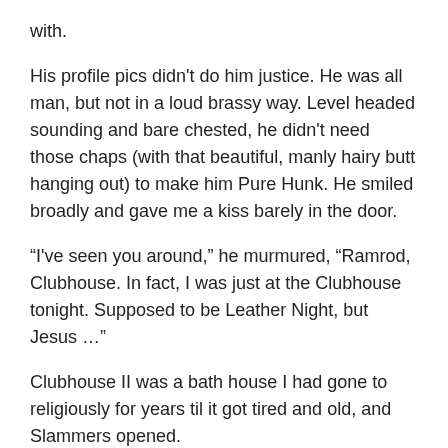with.
His profile pics didn't do him justice. He was all man, but not in a loud brassy way. Level headed sounding and bare chested, he didn't need those chaps (with that beautiful, manly hairy butt hanging out) to make him Pure Hunk. He smiled broadly and gave me a kiss barely in the door.
“I've seen you around,” he murmured, “Ramrod, Clubhouse. In fact, I was just at the Clubhouse tonight. Supposed to be Leather Night, but Jesus …”
Clubhouse II was a bath house I had gone to religiously for years til it got tired and old, and Slammers opened.
“Yea, I know, pretty pitiful, huh,” I replied, gesturing him to follow me to the back bedroom. I still didn’t believe this was all going to happen.